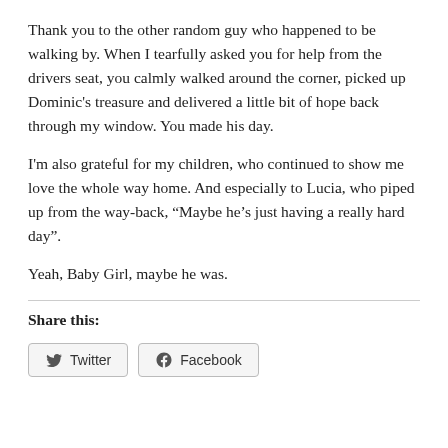Thank you to the other random guy who happened to be walking by. When I tearfully asked you for help from the drivers seat, you calmly walked around the corner, picked up Dominic's treasure and delivered a little bit of hope back through my window. You made his day.
I'm also grateful for my children, who continued to show me love the whole way home. And especially to Lucia, who piped up from the way-back, “Maybe he’s just having a really hard day”.
Yeah, Baby Girl, maybe he was.
Share this:
Twitter  Facebook